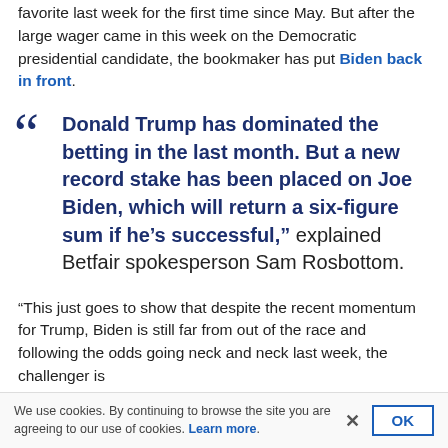favorite last week for the first time since May. But after the large wager came in this week on the Democratic presidential candidate, the bookmaker has put Biden back in front.
"Donald Trump has dominated the betting in the last month. But a new record stake has been placed on Joe Biden, which will return a six-figure sum if he's successful," explained Betfair spokesperson Sam Rosbottom.
"This just goes to show that despite the recent momentum for Trump, Biden is still far from out of the race and following the odds going neck and neck last week, the challenger is
We use cookies. By continuing to browse the site you are agreeing to our use of cookies. Learn more.